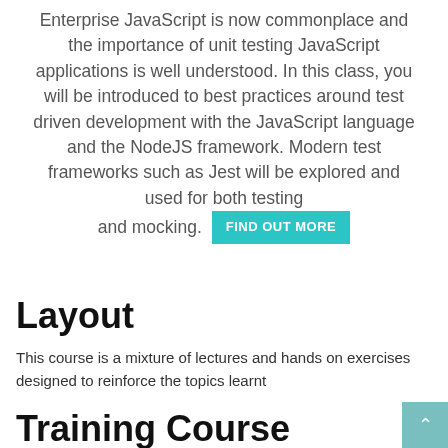Enterprise JavaScript is now commonplace and the importance of unit testing JavaScript applications is well understood. In this class, you will be introduced to best practices around test driven development with the JavaScript language and the NodeJS framework. Modern test frameworks such as Jest will be explored and used for both testing and mocking.
Layout
This course is a mixture of lectures and hands on exercises designed to reinforce the topics learnt
Training Course Objectives